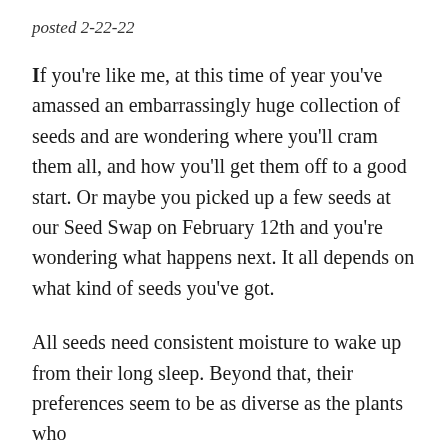posted 2-22-22
If you're like me, at this time of year you've amassed an embarrassingly huge collection of seeds and are wondering where you'll cram them all, and how you'll get them off to a good start. Or maybe you picked up a few seeds at our Seed Swap on February 12th and you're wondering what happens next. It all depends on what kind of seeds you've got.
All seeds need consistent moisture to wake up from their long sleep. Beyond that, their preferences seem to be as diverse as the plants who